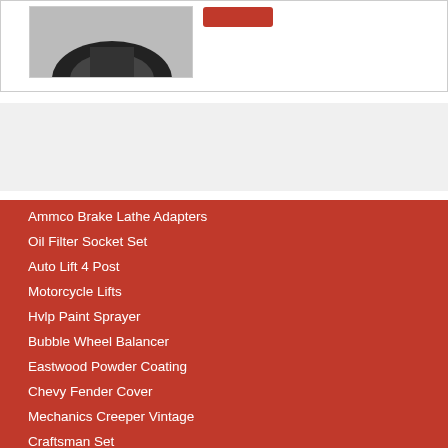[Figure (photo): Partial product image showing a dark automotive tool/part at the top of the page, within a bordered box]
[Figure (other): Red button/tag element next to the product image]
Search
Ammco Brake Lathe Adapters
Oil Filter Socket Set
Auto Lift 4 Post
Motorcycle Lifts
Hvlp Paint Sprayer
Bubble Wheel Balancer
Eastwood Powder Coating
Chevy Fender Cover
Mechanics Creeper Vintage
Craftsman Set